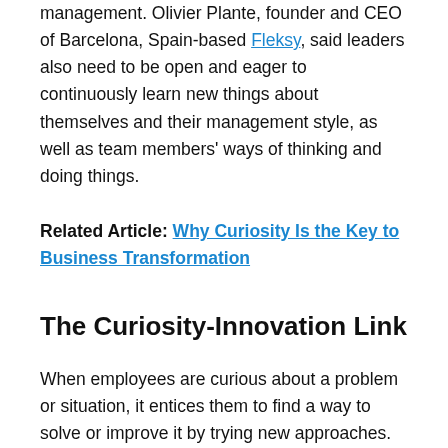management. Olivier Plante, founder and CEO of Barcelona, Spain-based Fleksy, said leaders also need to be open and eager to continuously learn new things about themselves and their management style, as well as team members' ways of thinking and doing things.
Related Article: Why Curiosity Is the Key to Business Transformation
The Curiosity-Innovation Link
When employees are curious about a problem or situation, it entices them to find a way to solve or improve it by trying new approaches. In fact, 62% of